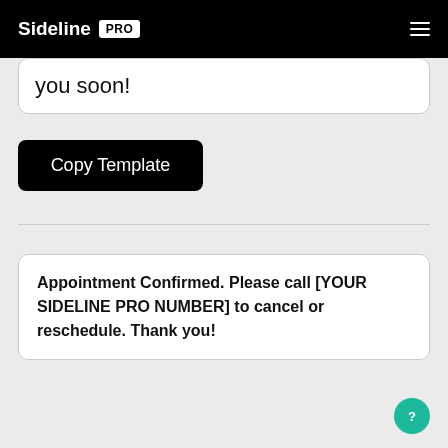Sideline PRO
you soon!
Copy Template
Appointment Confirmed. Please call [YOUR SIDELINE PRO NUMBER] to cancel or reschedule. Thank you!